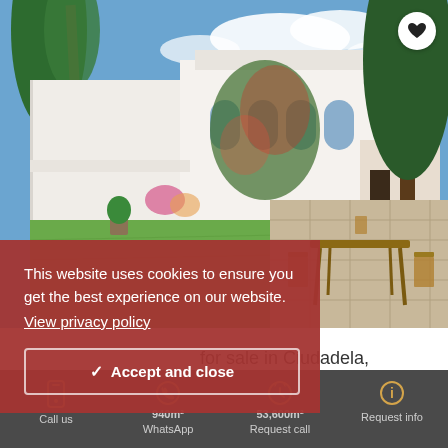[Figure (photo): Exterior photo of a white Mediterranean villa with lush gardens, trees, and an outdoor patio with wooden table and chairs in Ciudadela]
This website uses cookies to ensure you get the best experience on our website. View privacy policy
Accept and close
for sale in Ciudadela,
Call us  WhatsApp  940m²  Request call  53,600m²  Request info